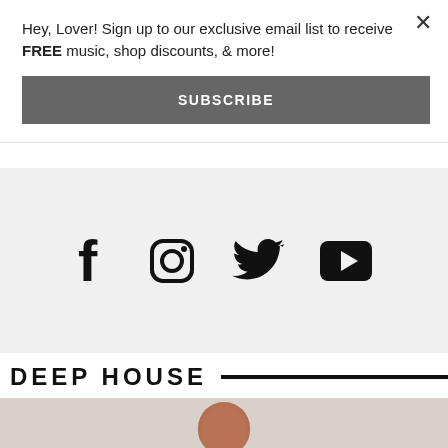Hey, Lover! Sign up to our exclusive email list to receive FREE music, shop discounts, & more!
SUBSCRIBE
[Figure (infographic): Social media icons: Facebook, Instagram, Twitter, YouTube on a light grey background]
DEEP HOUSE
[Figure (photo): Partial photo of a person's head against a light grey background]